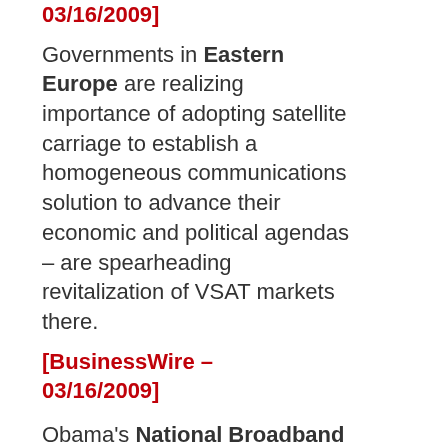[BusinessWire – 03/16/2009]
Governments in Eastern Europe are realizing importance of adopting satellite carriage to establish a homogeneous communications solution to advance their economic and political agendas – are spearheading revitalization of VSAT markets there.
[BusinessWire – 03/16/2009]
Obama's National Broadband Initiative – what's in it for satellite? Fox Business News March 10 interview features Mark Dankberg, ViaSat CEO, commenting.
[ViaSat News Archives – Fox